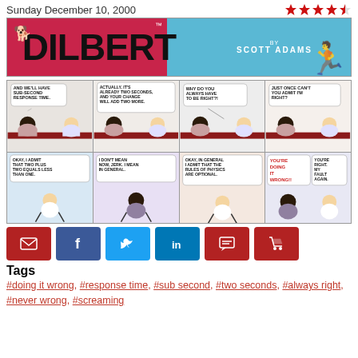Sunday December 10, 2000
[Figure (illustration): Dilbert comic strip banner with title DILBERT by Scott Adams on cyan/pink background]
[Figure (illustration): Dilbert comic strip - 8 panels. Panel 1: AND WE'LL HAVE SUB-SECOND RESPONSE TIME. Panel 2: ACTUALLY, IT'S ALREADY TWO SECONDS, AND YOUR CHANGE WILL ADD TWO MORE. Panel 3: WHY DO YOU ALWAYS HAVE TO BE RIGHT?! Panel 4: JUST ONCE CAN'T YOU ADMIT I'M RIGHT? Panel 5: OKAY, I ADMIT THAT TWO PLUS TWO EQUALS LESS THAN ONE. Panel 6: I DON'T MEAN NOW, JERK. I MEAN IN GENERAL. Panel 7: OKAY, IN GENERAL I ADMIT THAT THE RULES OF PHYSICS ARE OPTIONAL. Panel 8: YOU'RE DOING IT WRONG!! / YOU'RE RIGHT. MY FAULT AGAIN.]
[Figure (infographic): Social sharing buttons: email, facebook, twitter, linkedin, comment, cart]
Tags
#doing it wrong, #response time, #sub second, #two seconds, #always right, #never wrong, #screaming